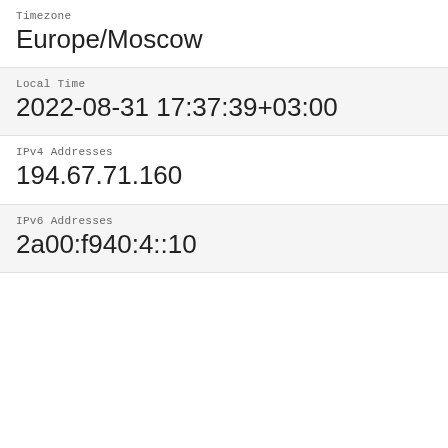Timezone
Europe/Moscow
Local Time
2022-08-31 17:37:39+03:00
IPv4 Addresses
194.67.71.160
IPv6 Addresses
2a00:f940:4::10